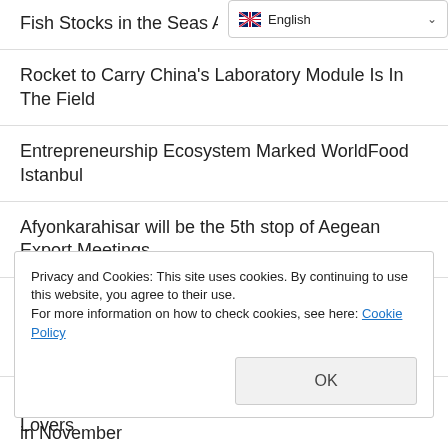Fish Stocks in the Seas Are Tracked...
[Figure (screenshot): English language selector dropdown in the top right corner with flag icon]
Rocket to Carry China's Laboratory Module Is In The Field
Entrepreneurship Ecosystem Marked WorldFood Istanbul
Afyonkarahisar will be the 5th stop of Aegean Export Meetings
Accommodation Opportunity for Women Undergoing Cancer Treatment by Bornova Municipality
'Blue Harbor 15' Painting Exhibition Meets Art Lovers
Applications to IMM Technology Workshops Start
Is Maiden's Tower Destroyed? Flash Statement from the General Directorate of Cultural Heritage and Museums
Privacy and Cookies: This site uses cookies. By continuing to use this website, you agree to their use.
For more information on how to check cookies, see here: Cookie Policy
in November